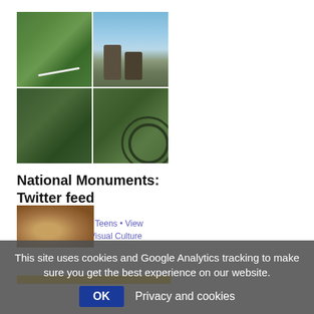[Figure (photo): A 2x2 grid of aerial/landscape photographs: top-left shows aerial view of green field with path, top-right shows Stonehenge-like stone monument against blue sky, bottom-left shows dark aerial green landscape, bottom-right shows aerial view of circular earthworks on green land.]
National Monuments: Twitter feed
Adult • Educational • Teens • View collection • Visual • Visual Culture
Add to my list
This site uses cookies and Google Analytics tracking to make sure you get the best experience on our website.
OK   Privacy and cookies